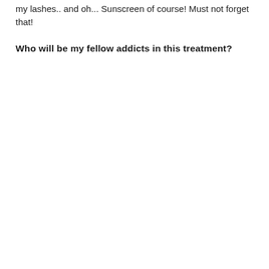my lashes.. and oh... Sunscreen of course! Must not forget that!
Who will be my fellow addicts in this treatment?